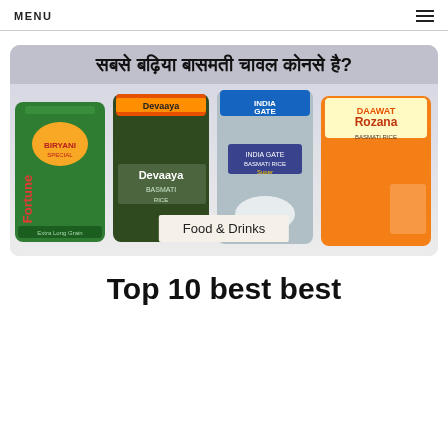MENU
[Figure (photo): Banner image showing basmati rice products (Fortune Biryani Special, Devaaya Basmati Rice, India Gate Basmati Rice Super, Daawat Rozana) with Hindi text 'सबसे बढ़िया बासमती चावल कोनसे है?' and a 'Food & Drinks' label overlay.]
Top 10 best best